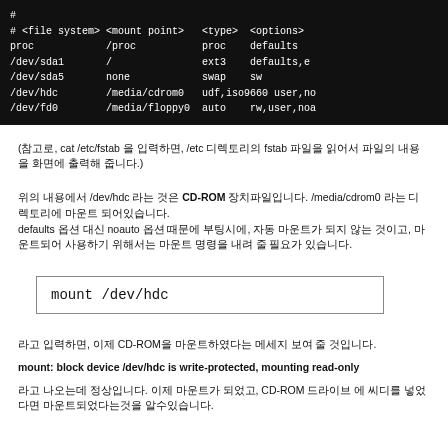[Figure (screenshot): Terminal/code block showing /etc/fstab file contents with columns: file system, mount point, type, options. Lines: # comment, proc /proc proc defaults, /dev/sda1 / ext3 defaults,e..., /dev/sda5 none swap sw, /dev/hdc /media/cdrom0 udf,iso9660 user,no..., /dev/fd0 /media/floppy0 auto rw,user,noa...]
(참고로, cat /etc/fstab 을 입력하면, /etc 디렉토리의 fstab 파일을 읽어서 파일의 내용을 화면에 출력해 줍니다.)
위의 내용에서 /dev/hdc 라는 것은 CD-ROM 장치파일입니다. /media/cdrom0 라는 디렉토리에 마운트 되어있습니다. defaults 옵션 대신 noauto 옵션 때문에 부팅시에, 자동 마운트가 되지 않는 것이고, 마운트되어 사용하기 위해서는 마운트 명령을 내려 줄 필요가 있습니다.
[Figure (screenshot): Command box showing: mount /dev/hdc]
라고 입력하면, 이제 CD-ROM을 마운트하였다는 메세지 보여 줄 것입니다.
mount: block device /dev/hdc is write-protected, mounting read-only
라고 나오는데 정상입니다. 이제 마운트가 되었고, CD-ROM 드라이브 에 씨디를 넣었다면 마운트되었다는것을 알수있습니다.